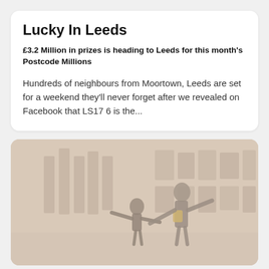Lucky In Leeds
£3.2 Million in prizes is heading to Leeds for this month's Postcode Millions
Hundreds of neighbours from Moortown, Leeds are set for a weekend they'll never forget after we revealed on Facebook that LS17 6 is the...
[Figure (photo): Two figures (an adult and a child) viewed from behind in a muted beige-toned gallery or exhibition space, both with arms outstretched pointing at framed pictures on the wall.]